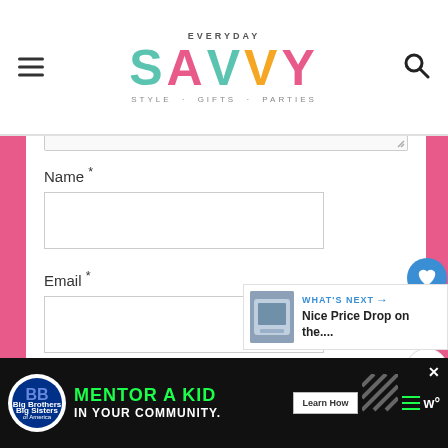EVERYDAY SAVVY · STYLE · GIFTS · PARTIES
Name *
Email *
Website
POST COMMENT
WHAT'S NEXT → Nice Price Drop on the....
MENTOR A KID IN YOUR COMMUNITY. Learn How